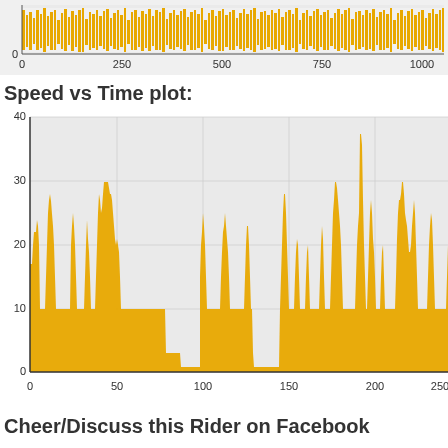[Figure (continuous-plot): Top strip chart showing dense golden/yellow vertical bars across x-axis range 0 to ~1100, with y-axis showing a small range near 0. This appears to be a cropped bottom portion of a prior chart.]
Speed vs Time plot:
[Figure (continuous-plot): Area chart showing speed vs time. X-axis runs from 0 to ~240 with ticks at 50, 100, 150, 200, 250. Y-axis runs from 0 to 40 with ticks at 0, 10, 20, 30, 40. The filled area is golden/yellow, showing speed values mostly between 0-25, with a spike to ~37 near x=200. Frequent drops to 0 throughout.]
Cheer/Discuss this Rider on Facebook